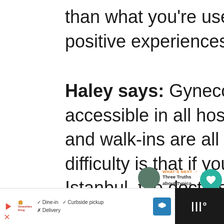than what you're used to, but I have had positive experiences.
Haley says: Gynecologists are easily accessible in all hospitals, and appointments and walk-ins are all accepted. The only difficulty is that if you are not living in Istanbul, the doctors are not obligated to know English fluently and getting an appointment take a bit of pointing at a phrase-
[Figure (screenshot): Bottom advertisement bar showing a restaurant with Dine-in, Curbside pickup options and a dark right panel]